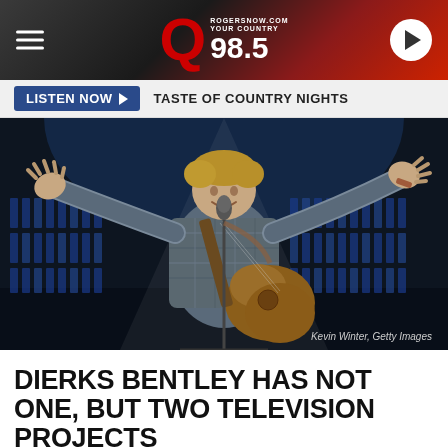[Figure (other): Q98.5 radio station header banner with logo, hamburger menu icon, and play button]
LISTEN NOW ▶  TASTE OF COUNTRY NIGHTS
[Figure (photo): Country musician Dierks Bentley on stage with arms outstretched and acoustic guitar, concert performance photo. Credit: Kevin Winter, Getty Images]
DIERKS BENTLEY HAS NOT ONE, BUT TWO TELEVISION PROJECTS